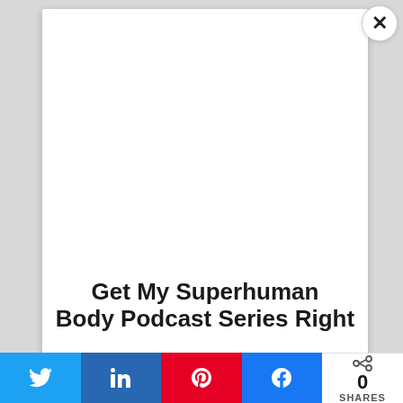[Figure (screenshot): White modal popup box with close (X) button in upper right corner, blank white interior space (no visible image content)]
Get My Superhuman Body Podcast Series Right
[Figure (infographic): Social share bar with Twitter (blue), LinkedIn (dark blue), Pinterest (red), and Facebook (blue) buttons, plus a share count showing 0 SHARES]